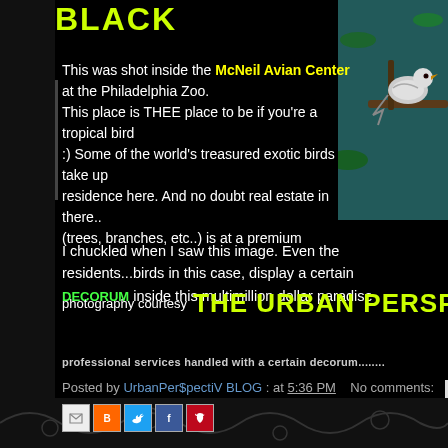BLACK
This was shot inside the McNeil Avian Center at the Philadelphia Zoo. This place is THEE place to be if you're a tropical bird :) Some of the world's treasured exotic birds take up residence here. And no doubt real estate in there.. (trees, branches, etc..) is at a premium
I chuckled when I saw this image. Even the residents...birds in this case, display a certain DECORUM inside this multimillion dollar paradise
[Figure (photo): Bird sitting on a branch, photographed inside the McNeil Avian Center at the Philadelphia Zoo]
photography courtesy THE URBAN PERSPECTIV
professional services handled with a certain decorum........
Posted by UrbanPer$pectiV BLOG : at 5:36 PM   No comments:
[Figure (screenshot): Social media share icons: Email, Blogger, Twitter, Facebook, Pinterest]